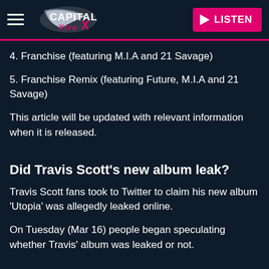Capital Xtra — LISTEN
4. Franchise (featuring M.I.A and 21 Savage)
5. Franchise Remix (featuring Future, M.I.A and 21 Savage)
This article will be updated with relevant information when it is released.
Did Travis Scott's new album leak?
Travis Scott fans took to Twitter to claim his new album 'Utopia' was allegedly leaked online.
On Tuesday (Mar 16) people began speculating whether Travis' album was leaked or not.